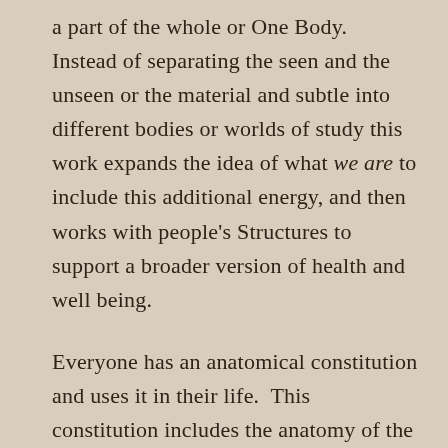a part of the whole or One Body.  Instead of separating the seen and the unseen or the material and subtle into different bodies or worlds of study this work expands the idea of what we are to include this additional energy, and then works with people's Structures to support a broader version of health and well being.
Everyone has an anatomical constitution and uses it in their life.  This constitution includes the anatomy of the larger subtle Structure.  Everyone is subject to the